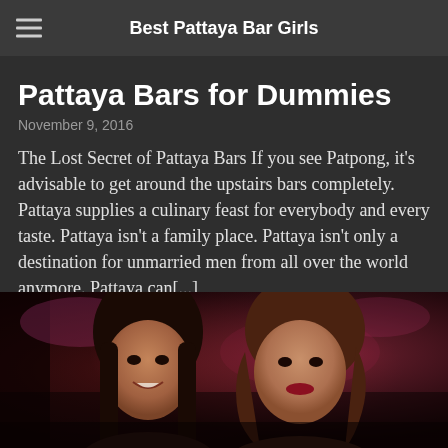Best Pattaya Bar Girls
Pattaya Bars for Dummies
November 9, 2016
The Lost Secret of Pattaya Bars If you see Patpong, it's advisable to get around the upstairs bars completely. Pattaya supplies a culinary feast for everybody and every taste. Pattaya isn't a family place. Pattaya isn't only a destination for unmarried men from all over the world anymore. Pattaya can[...]
Read More »
[Figure (photo): Photo of two young women smiling in a dimly lit bar environment with red/pink lighting in the background]